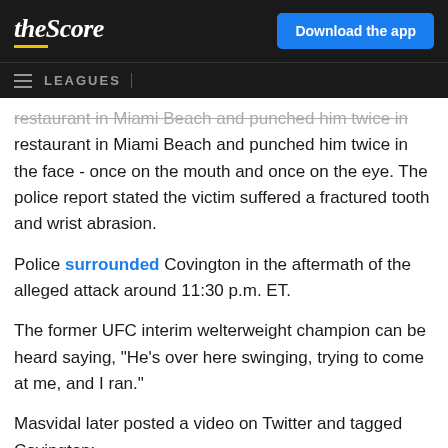theScore | Download the app
LEAGUES
restaurant in Miami Beach and punched him twice in the face - once on the mouth and once on the eye. The police report stated the victim suffered a fractured tooth and wrist abrasion.
Police surrounded Covington in the aftermath of the alleged attack around 11:30 p.m. ET.
The former UFC interim welterweight champion can be heard saying, "He's over here swinging, trying to come at me, and I ran."
Masvidal later posted a video on Twitter and tagged Covington:
@ColbyCovMMA